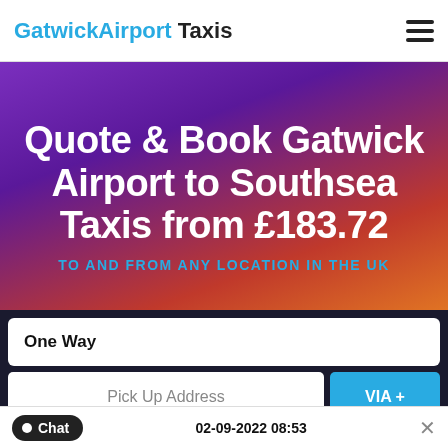GatwickAirport Taxis
Quote & Book Gatwick Airport to Southsea Taxis from £183.72
TO AND FROM ANY LOCATION IN THE UK
One Way
Pick Up Address
VIA +
Drop Off Address
Chat
02-09-2022 08:53